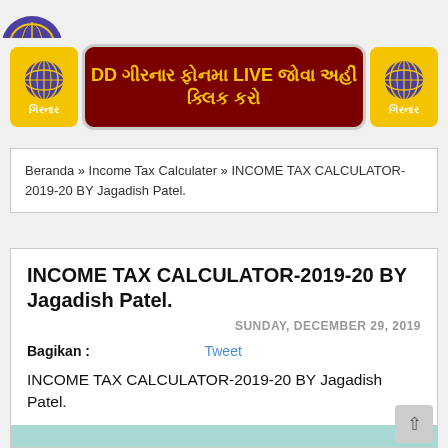[Figure (logo): Partial DD Girnar logo at top]
[Figure (logo): DD Girnar banner with Gujarati text: DD ગીરનાર ફોનમા LIVE જોવા અહીં ક્લિક કરો, with two DD Girnar circular logos on left and right]
Beranda » Income Tax Calculater » INCOME TAX CALCULATOR-2019-20 BY Jagadish Patel.
INCOME TAX CALCULATOR-2019-20 BY Jagadish Patel.
SUNDAY, DECEMBER 29, 2019
Bagikan :   Tweet
INCOME TAX CALCULATOR-2019-20 BY Jagadish Patel.